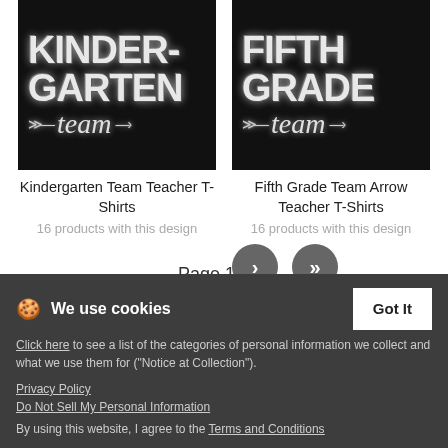[Figure (photo): Black background chalkboard-style t-shirt design with 'KINDER-GARTEN team' text and arrow graphics in white chalk-effect lettering]
Kindergarten Team Teacher T-Shirts
16 products with this design
[Figure (photo): Black background chalkboard-style t-shirt design with 'FIFTH GRADE team' text and arrow graphics in white chalk-effect lettering]
Fifth Grade Team Arrow Teacher T-Shirts
16 products with this design
Page 1 of 2
We use cookies
Click here to see a list of the categories of personal information we collect and what we use them for ("Notice at Collection").
Privacy Policy
Do Not Sell My Personal Information
By using this website, I agree to the Terms and Conditions